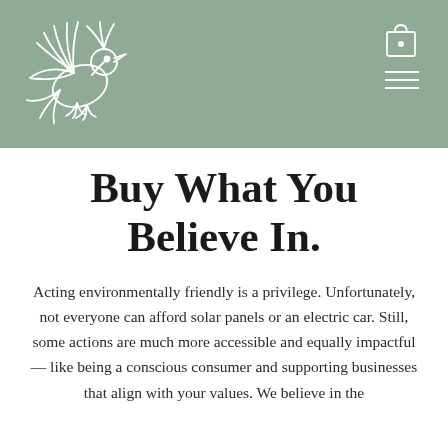[Figure (logo): Green sage-colored header banner with a white line-art bird illustration on the left and navigation icons (shopping bag and hamburger menu) on the right]
Buy What You Believe In.
Acting environmentally friendly is a privilege. Unfortunately, not everyone can afford solar panels or an electric car. Still, some actions are much more accessible and equally impactful— like being a conscious consumer and supporting businesses that align with your values. We believe in the